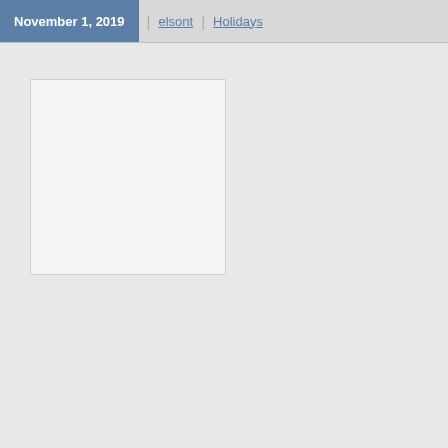November 1, 2019 | elsont | Holidays
[Figure (other): Empty white image placeholder box with light gray border]